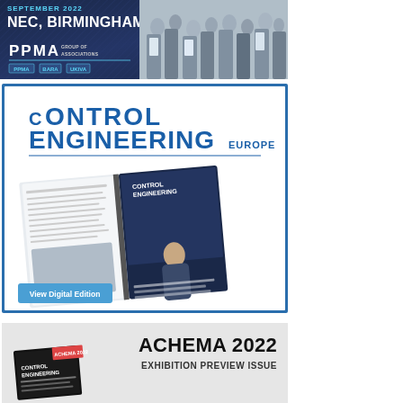[Figure (illustration): PPMA exhibition banner showing NEC Birmingham venue, crowd photo, and PPMA Group of Associations logo with PPMA, BARA, UKIVA badges. Dark blue background with trade show crowd image.]
[Figure (illustration): Control Engineering Europe advertisement showing magazine logo in blue, open magazine pages and a magazine cover with a person, plus a blue 'View Digital Edition' button.]
[Figure (illustration): Achema 2022 Exhibition Preview Issue advertisement on light grey background showing magazine cover and bold title text.]